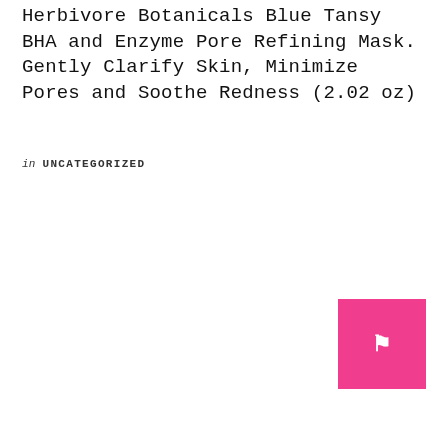Herbivore Botanicals Blue Tansy BHA and Enzyme Pore Refining Mask. Gently Clarify Skin, Minimize Pores and Soothe Redness (2.02 oz)
in UNCATEGORIZED
[Figure (other): Pink square button with a white bookmark/tag icon in the center]